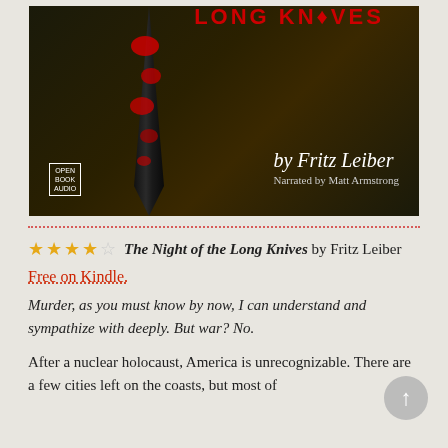[Figure (illustration): Audiobook cover for 'The Night of the Long Knives' by Fritz Leiber, narrated by Matt Armstrong. Dark background with a black and red knife blade design. Publisher logo: Open Book Audio.]
★★★★☆ The Night of the Long Knives by Fritz Leiber
Free on Kindle.
Murder, as you must know by now, I can understand and sympathize with deeply. But war? No.
After a nuclear holocaust, America is unrecognizable. There are a few cities left on the coasts, but most of